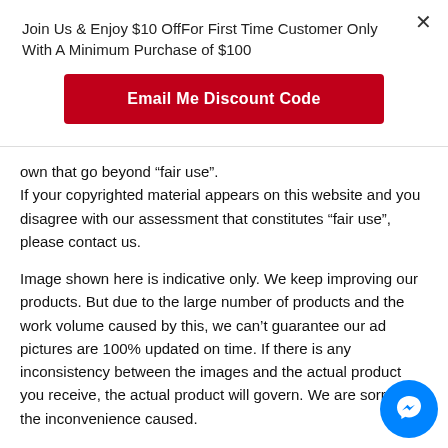Join Us & Enjoy $10 OffFor First Time Customer Only With A Minimum Purchase of $100
[Figure (other): Red button labeled 'Email Me Discount Code']
own that go beyond “fair use”.
If your copyrighted material appears on this website and you disagree with our assessment that constitutes “fair use”, please contact us.
Image shown here is indicative only. We keep improving our products. But due to the large number of products and the work volume caused by this, we can’t guarantee our ad pictures are 100% updated on time. If there is any inconsistency between the images and the actual product you receive, the actual product will govern. We are sorry for the inconvenience caused.
[Figure (other): Blue circular Messenger chat button in the bottom right corner]